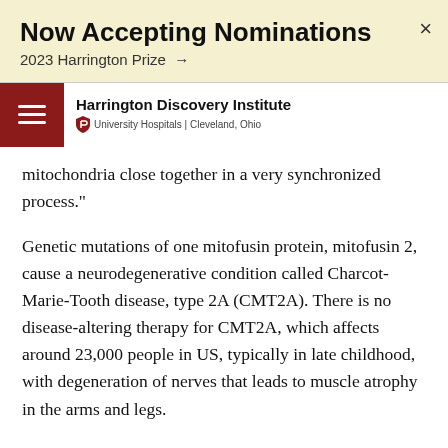Now Accepting Nominations
2023 Harrington Prize →
Harrington Discovery Institute | University Hospitals | Cleveland, Ohio
mitochondria close together in a very synchronized process."
Genetic mutations of one mitofusin protein, mitofusin 2, cause a neurodegenerative condition called Charcot-Marie-Tooth disease, type 2A (CMT2A). There is no disease-altering therapy for CMT2A, which affects around 23,000 people in US, typically in late childhood, with degeneration of nerves that leads to muscle atrophy in the arms and legs.
"With CMT2A, mutant mitofusins are inactive," Dr. Dorn says. "Based on an intuitive understanding of what was happening with protein conformation, we were able to